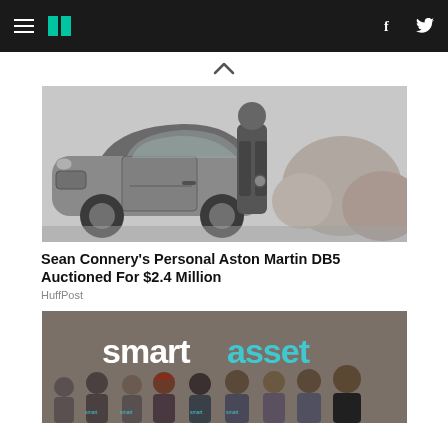HuffPost navigation bar with hamburger menu, logo, facebook and twitter icons
[Figure (photo): Black and white photo of a man in a suit leaning against an Aston Martin DB5 car with rocky scenery in background]
Sean Connery's Personal Aston Martin DB5 Auctioned For $2.4 Million
HuffPost
[Figure (photo): Group photo of SmartAsset team members wearing branded t-shirts in front of SmartAsset logo on wall]